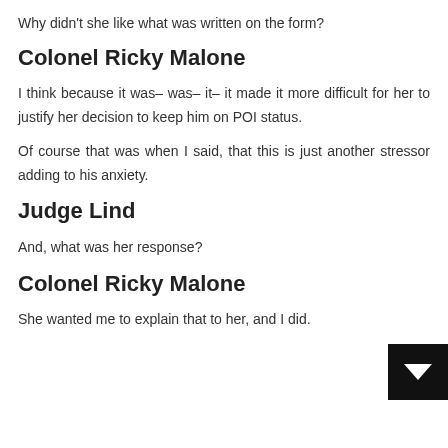Why didn't she like what was written on the form?
Colonel Ricky Malone
I think because it was– was– it– it made it more difficult for her to justify her decision to keep him on POI status.
Of course that was when I said, that this is just another stressor adding to his anxiety.
Judge Lind
And, what was her response?
Colonel Ricky Malone
She wanted me to explain that to her, and I did.
your email address
Subscribe